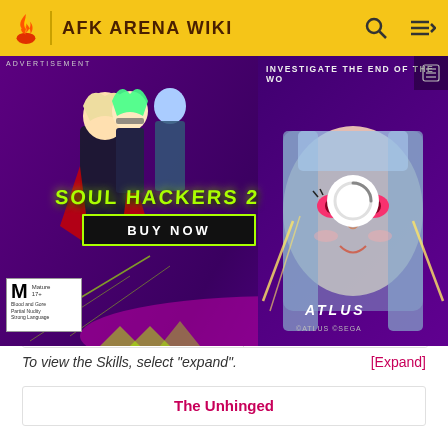AFK ARENA WIKI
[Figure (screenshot): Advertisement banner for Soul Hackers 2 game by Atlus, showing anime characters on a purple background with 'BUY NOW' button and Atlus logo. Right side shows a close-up of an anime character face with a loading spinner.]
[Figure (illustration): Anime-style character illustration showing a figure in a black coat with red cape, standing in a game wiki profile panel. The left column has the character art and the right column is empty/white.]
To view the Skills, select "expand".
[Expand]
The Unhinged